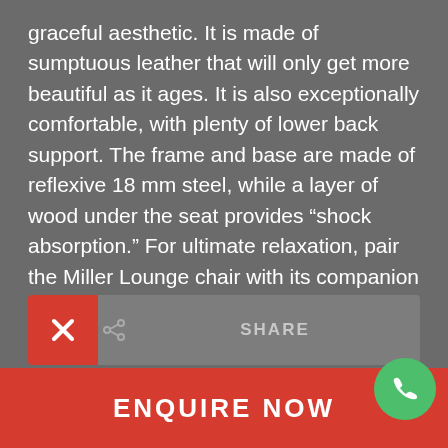graceful aesthetic. It is made of sumptuous leather that will only get more beautiful as it ages. It is also exceptionally comfortable, with plenty of lower back support. The frame and base are made of reflexive 18 mm steel, while a layer of wood under the seat provides “shock absorption.” For ultimate relaxation, pair the Miller Lounge chair with its companion Miller Ottoman.
[Figure (infographic): Share button with red icon box showing an X and share symbol, next to a grey SHARE button]
[Figure (infographic): Grey DOWNLOAD SPECS button with red download arrow icon]
[Figure (infographic): Red ENQUIRE NOW button at bottom with a green phone icon circle]